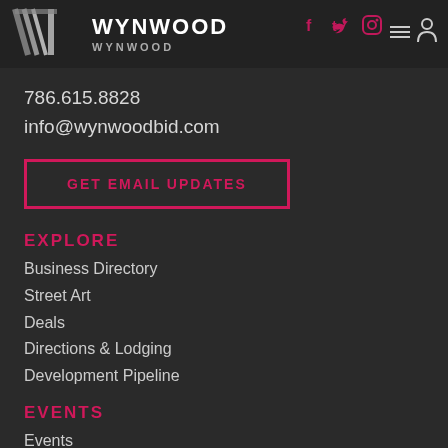WYNWOOD
786.615.8828
info@wynwoodbid.com
GET EMAIL UPDATES
EXPLORE
Business Directory
Street Art
Deals
Directions & Lodging
Development Pipeline
EVENTS
Events
Art